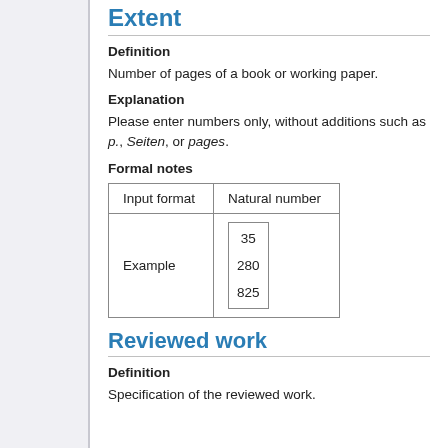Extent
Definition
Number of pages of a book or working paper.
Explanation
Please enter numbers only, without additions such as p., Seiten, or pages.
Formal notes
| Input format | Natural number |
| --- | --- |
| Example | 35
280
825 |
Reviewed work
Definition
Specification of the reviewed work.